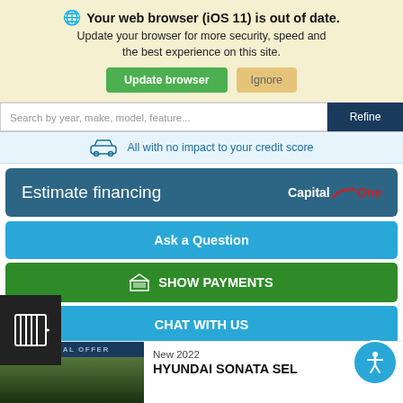🌐 Your web browser (iOS 11) is out of date. Update your browser for more security, speed and the best experience on this site.
Search by year, make, model, feature...
All with no impact to your credit score
Estimate financing
Ask a Question
SHOW PAYMENTS
CHAT WITH US
SPECIAL OFFER
New 2022
HYUNDAI SONATA SEL